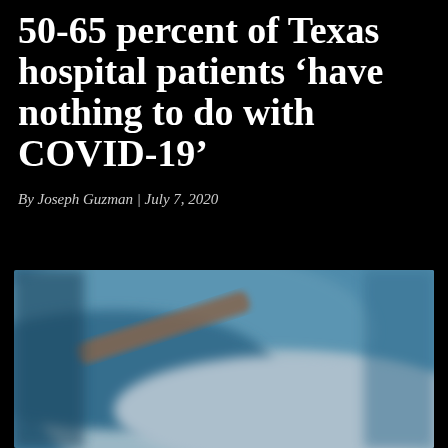50-65 percent of Texas hospital patients 'have nothing to do with COVID-19'
By Joseph Guzman | July 7, 2020
[Figure (photo): Close-up blurred photo of a hospital patient in a blue hospital gown lying in a hospital bed, with blue and white bedding visible]